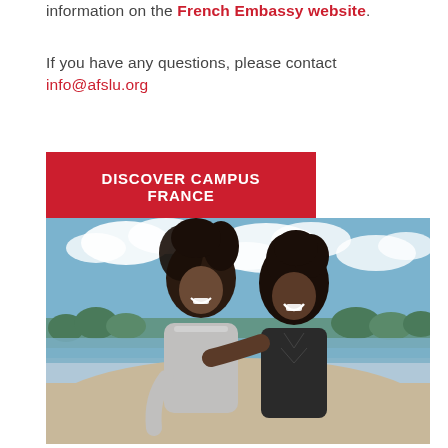information on the French Embassy website.
If you have any questions, please contact info@afslu.org
DISCOVER CAMPUS FRANCE
[Figure (photo): Two young women laughing together on a beach outdoors, one in a grey sweater with curly hair, the other in a black top with curly hair, blue sky and clouds in background]